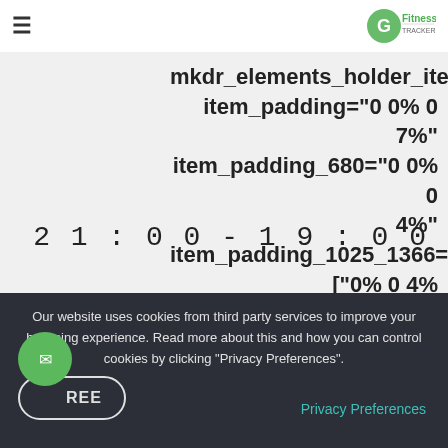switch_to_one_column™ [¨=alignment_one_col…
mkdr_elements_holder_item] item_padding="0 0% 0 7%" item_padding_680="0 0% 0 4%" item_padding_1025_1366="0 ["0% 0 4%
21:00 - 19:00
Our website uses cookies from third party services to improve your browsing experience. Read more about this and how you can control cookies by clicking "Privacy Preferences".
Privacy Preferences
REE